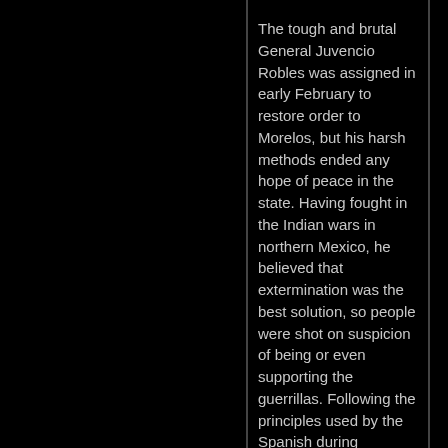The tough and brutal General Juvencio Robles was assigned in early February to restore order to Morelos, but his harsh methods ended any hope of peace in the state. Having fought in the Indian wars in northern Mexico, he believed that extermination was the best solution, so people were shot on suspicion of being or even supporting the guerrillas. Following the principles used by the Spanish during